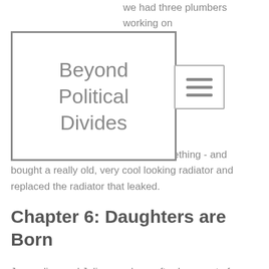[Figure (other): Overlay box with title 'Beyond Political Divides' and a hamburger menu icon]
we had three plumbers working on as Day. But hi y ow, it some place - I think it was like Salvage one or something - and bought a really old, very cool looking radiator and replaced the radiator that leaked.
Chapter 6: Daughters are Born
Jacqueline and Julia were born after I was out of residency. We- we were married for quite a while before we had the kids. But my husband Mike definitely got really sort of changed after I had Jacqueline. I had Jacqueline - a little bit of a stressful